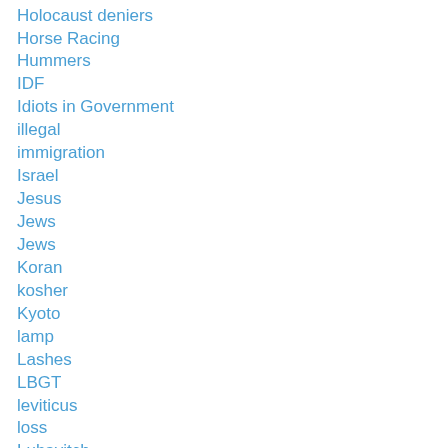Holocaust deniers
Horse Racing
Hummers
IDF
Idiots in Government
illegal
immigration
Israel
Jesus
Jews
Jews
Koran
kosher
Kyoto
lamp
Lashes
LBGT
leviticus
loss
Lubavitch